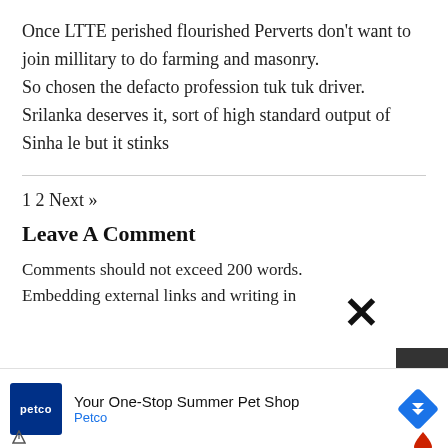Once LTTE perished flourished Perverts don't want to join millitary to do farming and masonry.
So chosen the defacto profession tuk tuk driver.
Srilanka deserves it, sort of high standard output of Sinha le but it stinks
1 2 Next »
Leave A Comment
Comments should not exceed 200 words.
Embedding external links and writing in
[Figure (other): Advertisement banner for Petco: 'Your One-Stop Summer Pet Shop' with Petco logo and navigation arrow icon. Dark scroll-to-top button on right. Close X button visible above ad.]